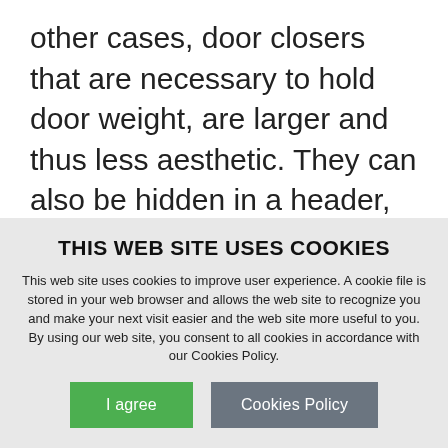other cases, door closers that are necessary to hold door weight, are larger and thus less aesthetic. They can also be hidden in a header, or in the floor. Each option comes with its unique install and hardware costs and, unfortunately, value engineering may reduce the ability to achieve the design and visual appearance
THIS WEB SITE USES COOKIES
This web site uses cookies to improve user experience. A cookie file is stored in your web browser and allows the web site to recognize you and make your next visit easier and the web site more useful to you. By using our web site, you consent to all cookies in accordance with our Cookies Policy.